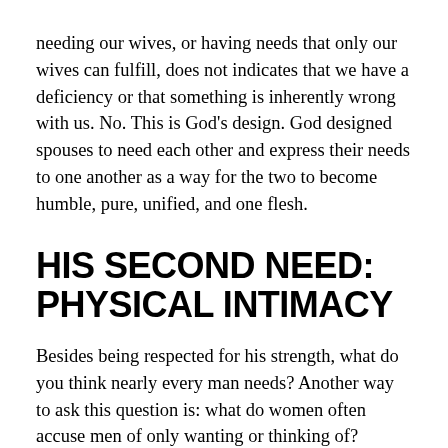needing our wives, or having needs that only our wives can fulfill, does not indicates that we have a deficiency or that something is inherently wrong with us. No. This is God's design. God designed spouses to need each other and express their needs to one another as a way for the two to become humble, pure, unified, and one flesh.
HIS SECOND NEED: PHYSICAL INTIMACY
Besides being respected for his strength, what do you think nearly every man needs? Another way to ask this question is: what do women often accuse men of only wanting or thinking of? Physical intimacy—conjugal relations, sexual intercourse. This desire is not simply a longing, but man's authentic, God-given need, and if his need is not addressed by his wife, his marriage will undergo serious tension. For